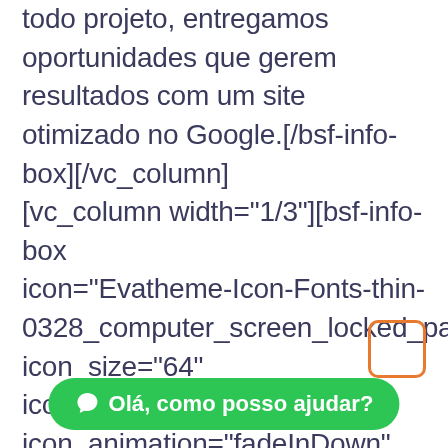todo projeto, entregamos oportunidades que gerem resultados com um site otimizado no Google.[/bsf-info-box][/vc_column][vc_column width="1/3"][bsf-info-box icon="Evatheme-Icon-Fonts-thin-0328_computer_screen_locked_password_prote icon_size="64" icon_color="#ffffff" icon_animation="fadeInDown" title="Sites dinâmicos" pos="top" title_font="font_family:Cabin|font_call:Cabin|vari title_font_style="font-weight:600;" desc_font="font_family:Cabin|font_call:Cabin|var desc_font_style="font-weight:500;" title_font_size="desktop:24px;" title_font_line_hei title_font_color= desc_font_color="desktop:16px;"
[Figure (other): Orange rounded rectangle outline (chat/notification widget button placeholder)]
© Olá, como posso ajudar?